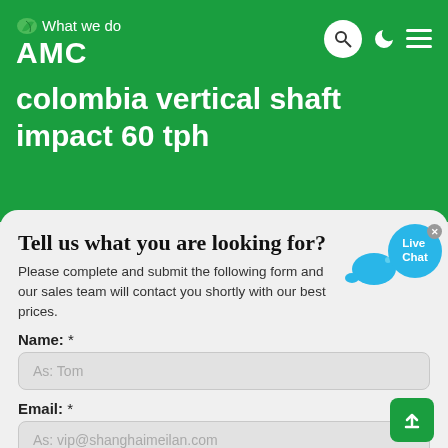What we do
AMC
colombia vertical shaft impact 60 tph
Tell us what you are looking for?
Please complete and submit the following form and our sales team will contact you shortly with our best prices.
Name: *
As: Tom
Email: *
As: vip@shanghaimeilan.com
Phone: *
With Country Code